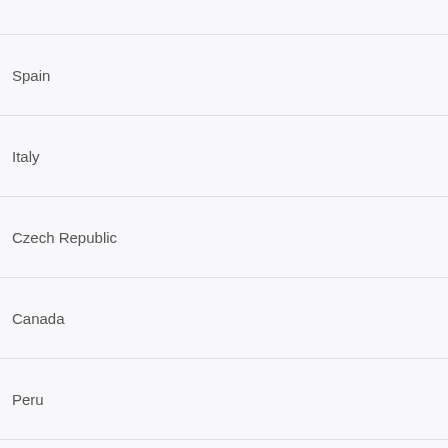Spain
Italy
Czech Republic
Canada
Peru
Australia
Ireland